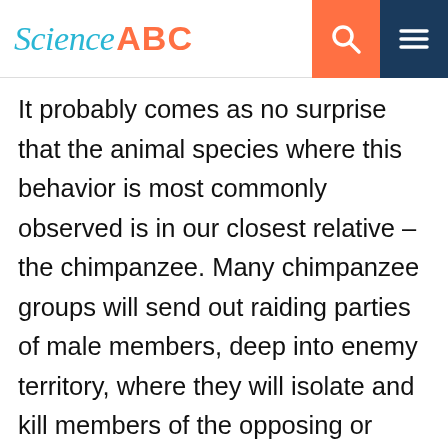Science ABC
It probably comes as no surprise that the animal species where this behavior is most commonly observed is in our closest relative – the chimpanzee. Many chimpanzee groups will send out raiding parties of male members, deep into enemy territory, where they will isolate and kill members of the opposing or impinging groups. This functions to wear down an enemy group, or deflate their numbers to the point where they abandon their territory. The victims and aggressors are almost always male, reflecting the reproductive aspects of eliminating competition, rather than malice or